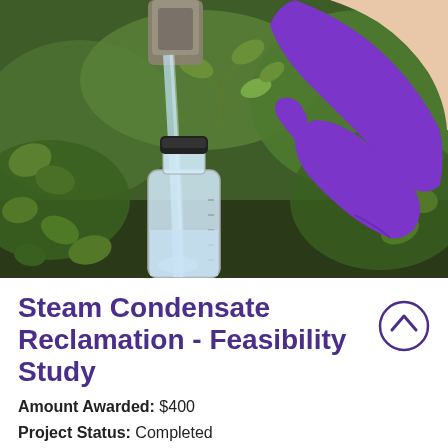[Figure (photo): A gloved hand wearing a purple nitrile glove holds a clear plastic graduated bottle under a stream of water flowing from a stone pipe or rock surface, surrounded by green ivy and foliage in an outdoor setting.]
Steam Condensate Reclamation - Feasibility Study
Amount Awarded: $400
Project Status: Completed